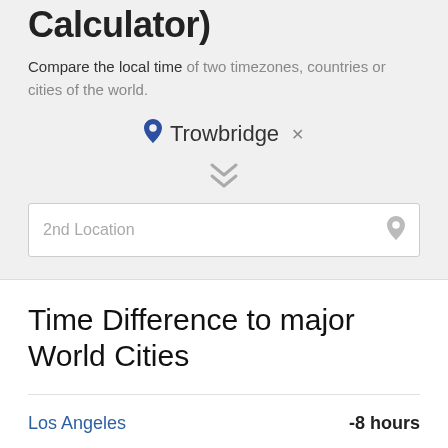Calculator)
Compare the local time of two timezones, countries or cities of the world.
Trowbridge ×
[Figure (other): Double chevron down arrow icon indicating expand/compare]
2nd Location
Time Difference to major World Cities
Los Angeles   -8 hours